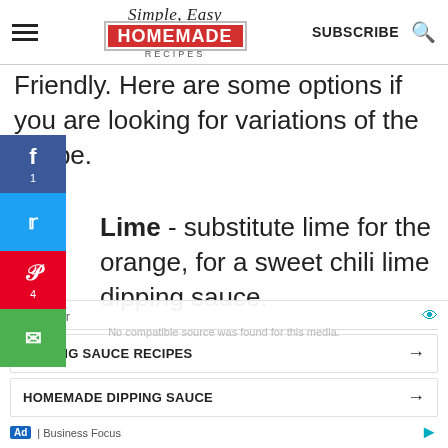Simple Easy Homemade Recipes — SUBSCRIBE
Friendly. Here are some options if you are looking for variations of the recipe.
Lime - substitute lime for the orange, for a sweet chili lime dipping sauce.
[Figure (other): Ad overlay with search suggestions: 'DIPPING SAUCE RECIPES' and 'HOMEMADE DIPPING SAUCE', Business Focus ad footer]